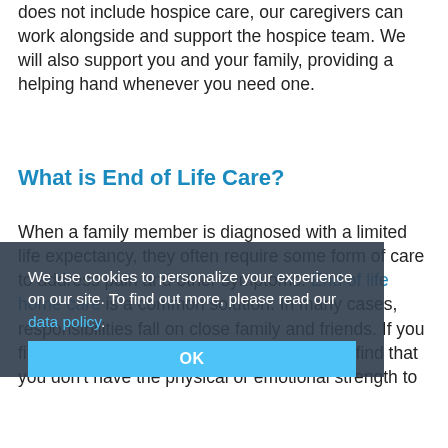does not include hospice care, our caregivers can work alongside and support the hospice team. We will also support you and your family, providing a helping hand whenever you need one.
What is End of Life Care?
When a family member is diagnosed with a limited life expectancy, they often require some form of care to address pain and other symptoms. End of life home care is a common solution. In many cases, responsibilities fall on close family and friends. If you find yourself in this position, you might also find that you don't have the physical or emotional strength to
We use cookies to personalize your experience on our site. To find out more, please read our data policy.